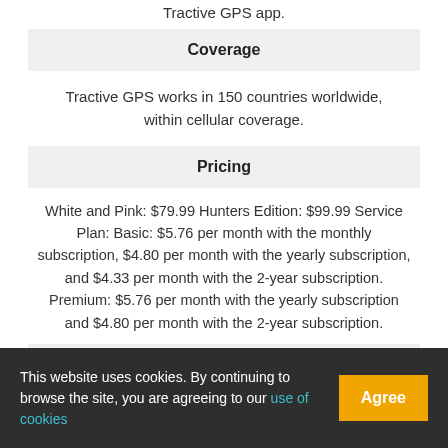Tractive GPS app.
Coverage
Tractive GPS works in 150 countries worldwide, within cellular coverage.
Pricing
White and Pink: $79.99 Hunters Edition: $99.99 Service Plan: Basic: $5.76 per month with the monthly subscription, $4.80 per month with the yearly subscription, and $4.33 per month with the 2-year subscription. Premium: $5.76 per month with the yearly subscription and $4.80 per month with the 2-year subscription.
Shipping and Delivery
This website uses cookies. By continuing to browse the site, you are agreeing to our use of cookies